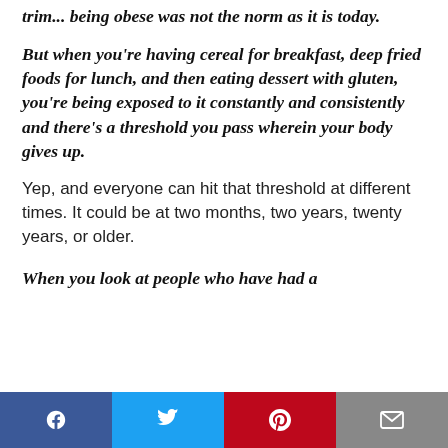trim... being obese was not the norm as it is today.
But when you're having cereal for breakfast, deep fried foods for lunch, and then eating dessert with gluten, you're being exposed to it constantly and consistently and there's a threshold you pass wherein your body gives up.
Yep, and everyone can hit that threshold at different times. It could be at two months, two years, twenty years, or older.
When you look at people who have had a